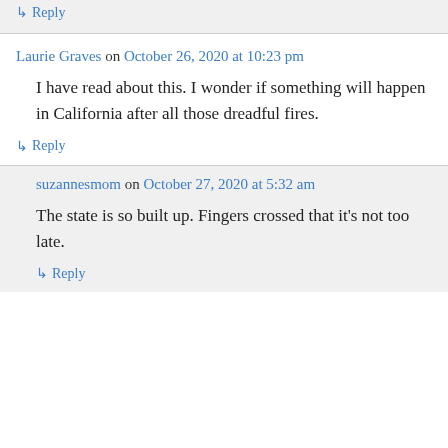Reply
Laurie Graves on October 26, 2020 at 10:23 pm
I have read about this. I wonder if something will happen in California after all those dreadful fires.
Reply
suzannesmom on October 27, 2020 at 5:32 am
The state is so built up. Fingers crossed that it's not too late.
Reply